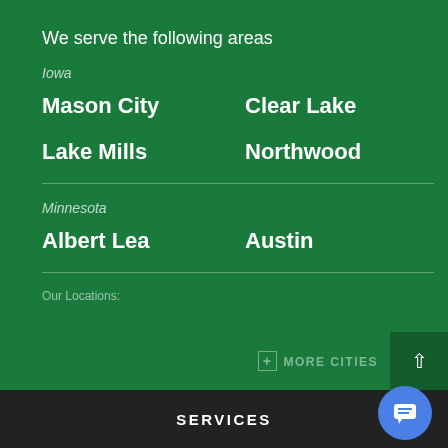We serve the following areas
Iowa
Mason City
Clear Lake
Lake Mills
Northwood
Minnesota
Albert Lea
Austin
Our Locations:
+ MORE CITIES
SERVICES